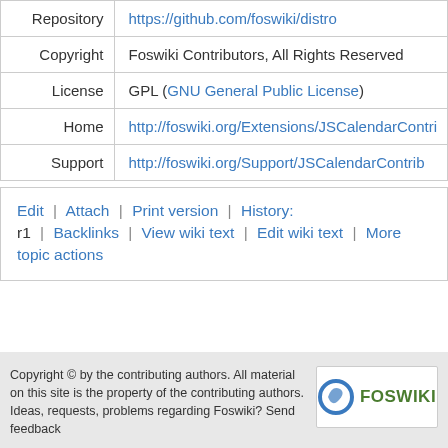|  |  |
| --- | --- |
| Repository | https://github.com/foswiki/distro |
| Copyright | Foswiki Contributors, All Rights Reserved |
| License | GPL (GNU General Public License) |
| Home | http://foswiki.org/Extensions/JSCalendarContri... |
| Support | http://foswiki.org/Support/JSCalendarContrib |
Edit | Attach | Print version | History: r1 | Backlinks | View wiki text | Edit wiki text | More topic actions
Copyright © by the contributing authors. All material on this site is the property of the contributing authors. Ideas, requests, problems regarding Foswiki? Send feedback